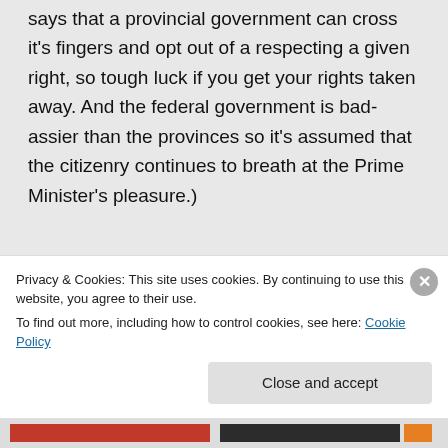says that a provincial government can cross it's fingers and opt out of a respecting a given right, so tough luck if you get your rights taken away. And the federal government is bad-assier than the provinces so it's assumed that the citizenry continues to breath at the Prime Minister's pleasure.)
★ Like
👍 0 👎 0 🔵 Rate This
Privacy & Cookies: This site uses cookies. By continuing to use this website, you agree to their use.
To find out more, including how to control cookies, see here: Cookie Policy
Close and accept